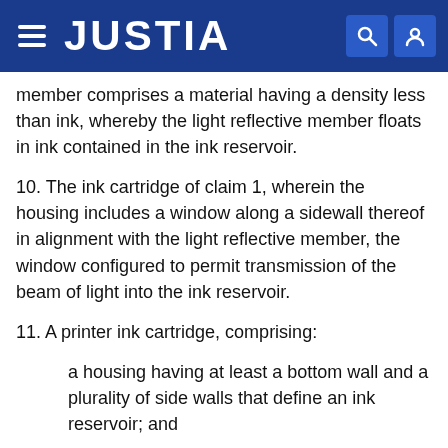JUSTIA
member comprises a material having a density less than ink, whereby the light reflective member floats in ink contained in the ink reservoir.
10. The ink cartridge of claim 1, wherein the housing includes a window along a sidewall thereof in alignment with the light reflective member, the window configured to permit transmission of the beam of light into the ink reservoir.
11. A printer ink cartridge, comprising:
a housing having at least a bottom wall and a plurality of side walls that define an ink reservoir; and
a light reflective member having a light reflective surface configured to reflect a beam of light, the